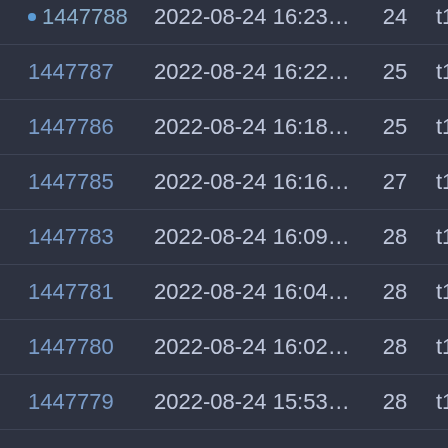| ID | Datetime | Count | User |
| --- | --- | --- | --- |
| 1447788 | 2022-08-24 16:23:01 | 24 | t1Xgdi.. |
| 1447787 | 2022-08-24 16:22:17 | 25 | t1Wnb.. |
| 1447786 | 2022-08-24 16:18:21 | 25 | t1Xod.. |
| 1447785 | 2022-08-24 16:16:34 | 27 | t1Xod.. |
| 1447783 | 2022-08-24 16:09:12 | 28 | t1T3e.. |
| 1447781 | 2022-08-24 16:04:56 | 28 | t1Xod.. |
| 1447780 | 2022-08-24 16:02:17 | 28 | t1T3e.. |
| 1447779 | 2022-08-24 15:53:38 | 28 | t1Xod.. |
| 1447778 | 2022-08-24 15:43:21 | 28 | t1X.. |